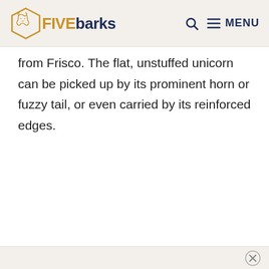FIVE barks — MENU
from Frisco. The flat, unstuffed unicorn can be picked up by its prominent horn or fuzzy tail, or even carried by its reinforced edges.